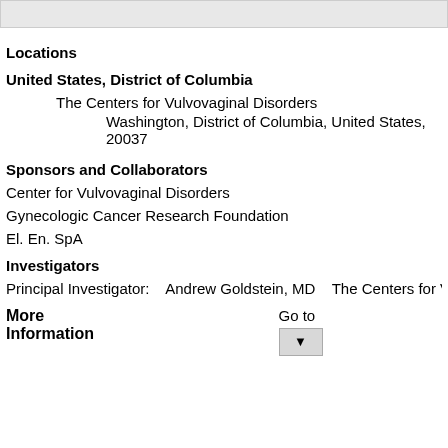[Figure (other): Gray header bar at top of page]
Locations
United States, District of Columbia
The Centers for Vulvovaginal Disorders
Washington, District of Columbia, United States, 20037
Sponsors and Collaborators
Center for Vulvovaginal Disorders
Gynecologic Cancer Research Foundation
El. En. SpA
Investigators
Principal Investigator:    Andrew Goldstein, MD    The Centers for Vu
More
Information
Go to